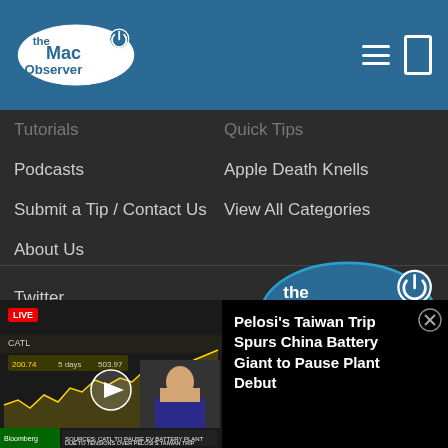[Figure (logo): The Mac Observer logo in white on blue oval background with power button icon]
Tutorials
Quick Tips
Podcasts
Apple Death Knells
Submit a Tip / Contact Us
View All Categories
About Us
[Figure (logo): The Mac Observer logo large version in footer area]
Twitter
Facebook
RSS Feed
[Figure (screenshot): Bloomberg video thumbnail showing CATL stock chart and news anchor, with ticker: SOURCES: CATL TO PAUSE EV BATTERY PLANT DUE TO TENSIONS OVER PELOSI'S TAIWAN TRIP]
Pelosi's Taiwan Trip Spurs China Battery Giant to Pause Plant Debut